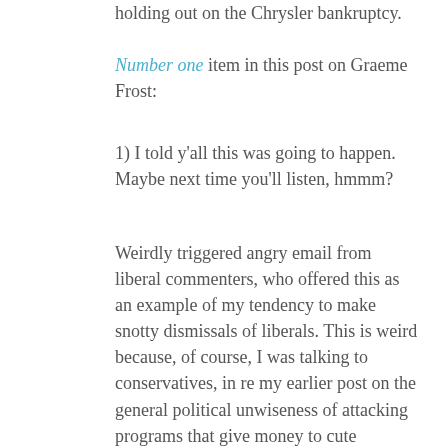holding out on the Chrysler bankruptcy.
Number one item in this post on Graeme Frost:
1) I told y'all this was going to happen. Maybe next time you'll listen, hmmm?
Weirdly triggered angry email from liberal commenters, who offered this as an example of my tendency to make snotty dismissals of liberals. This is weird because, of course, I was talking to conservatives, in re my earlier post on the general political unwiseness of attacking programs that give money to cute children.
Poverty policy[:] Liberals will scream, but George Bush gets this one. Kerry has one plan I like--increasing the Earned Income Tax Credit--but the rest of his programme is just standard Democratic same-old, same-old.... For all the hysteria, Bush's plans for Social Security and Medicare are excessively modest....I'm